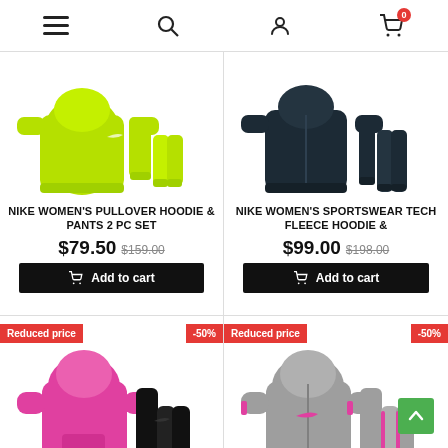Navigation header with menu, search, account, and cart (0 items) icons
[Figure (photo): Nike Women's Pullover Hoodie & Pants 2 PC Set - lime green tracksuit product photo]
NIKE WOMEN'S PULLOVER HOODIE & PANTS 2 PC SET
$79.50  $159.00
Add to cart
[Figure (photo): Nike Women's Sportswear Tech Fleece Hoodie & Pants - dark navy tracksuit product photo]
NIKE WOMEN'S SPORTSWEAR TECH FLEECE HOODIE &
$99.00  $198.00
Add to cart
[Figure (photo): Nike Women's Sportswear pink tracksuit with Reduced price -50% badges]
NIKE WOMEN'S SPORTSWEAR
[Figure (photo): Nike Women's Sportswear grey tracksuit with pink accents, Reduced price -50% badges]
NIKE WOMEN'S SPORTSWEAR